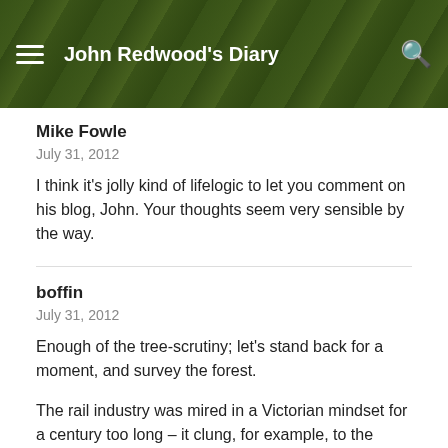John Redwood's Diary
Mike Fowle
July 31, 2012
I think it's jolly kind of lifelogic to let you comment on his blog, John. Your thoughts seem very sensible by the way.
boffin
July 31, 2012
Enough of the tree-scrutiny; let's stand back for a moment, and survey the forest.
The rail industry was mired in a Victorian mindset for a century too long – it clung, for example, to the absurdity of (vacuum brakes) against all technical logic for generations